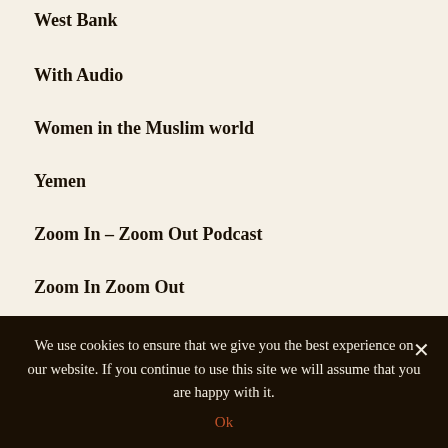West Bank
With Audio
Women in the Muslim world
Yemen
Zoom In – Zoom Out Podcast
Zoom In Zoom Out
TAGS
Iran | Syria | Lebanon | Hezbollah | Hamas | Egypt | Gaza | Iraq | video | Palestinians | Israel | Saudi Arabia |
We use cookies to ensure that we give you the best experience on our website. If you continue to use this site we will assume that you are happy with it. Ok